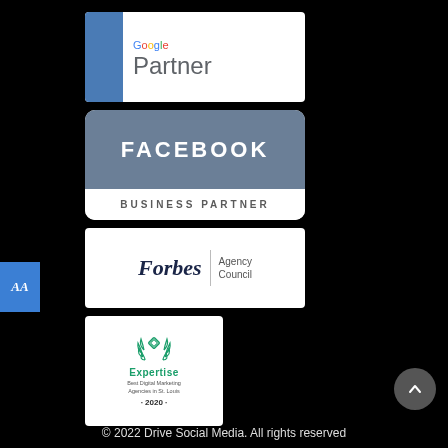[Figure (logo): Google Partner badge with blue sidebar and Google-colored text]
[Figure (logo): Facebook Business Partner badge with gray top section and white bottom]
[Figure (logo): Forbes Agency Council badge with italic Forbes logo and divider]
[Figure (logo): Expertise Best Digital Marketing Agencies in St. Louis 2020 badge with green laurel wreath]
© 2022 Drive Social Media. All rights reserved